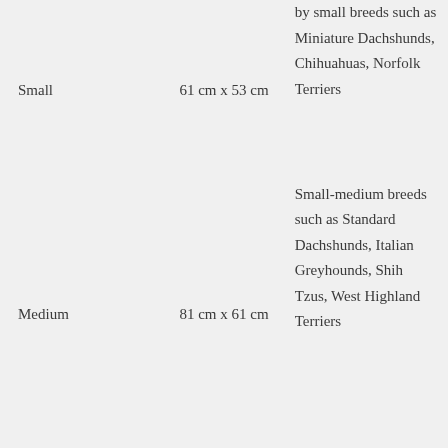| Size | Dimensions | Description |
| --- | --- | --- |
| Small | 61 cm x 53 cm | by small breeds such as Miniature Dachshunds, Chihuahuas, Norfolk Terriers |
| Medium | 81 cm x 61 cm | Small-medium breeds such as Standard Dachshunds, Italian Greyhounds, Shih Tzus, West Highland Terriers |